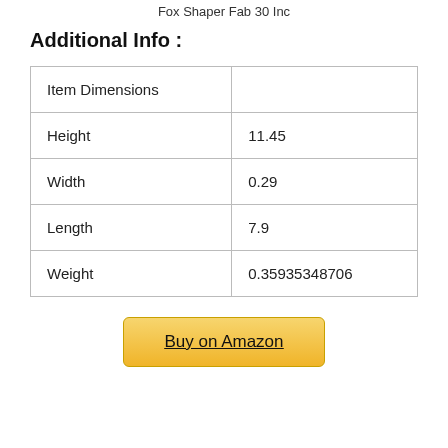Fox Shaper Fab 30 Inc
Additional Info :
| Item Dimensions |  |
| Height | 11.45 |
| Width | 0.29 |
| Length | 7.9 |
| Weight | 0.35935348706 |
Buy on Amazon